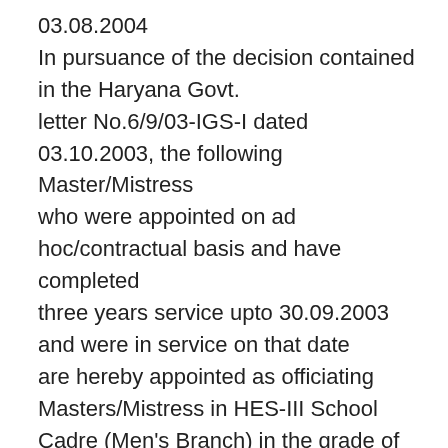03.08.2004
In pursuance of the decision contained in the Haryana Govt. letter No.6/9/03-IGS-I dated 03.10.2003, the following Master/Mistress who were appointed on ad hoc/contractual basis and have completed three years service upto 30.09.2003 and were in service on that date are hereby appointed as officiating Masters/Mistress in HES-III School Cadre (Men's Branch) in the grade of Rs.5500-9000 (pre-revised) plus usual allowances as sanctioned by the Haryana Government from time to time w.e.f. 01.10.2003 and posted at present place against